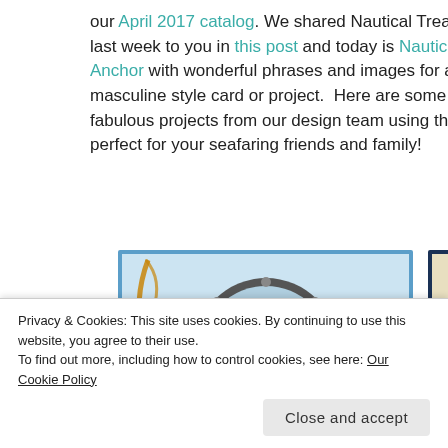our April 2017 catalog. We shared Nautical Treasures last week to you in this post and today is Nautical Anchor with wonderful phrases and images for a masculine style card or project.  Here are some fabulous projects from our design team using this set perfect for your seafaring friends and family!
[Figure (photo): Two nautical-themed greeting card images side by side. Left card shows a porthole with a sailboat scene and anchor motif on a blue background. Right card shows a compass rose with nautical rope on a navy/tan background.]
Privacy & Cookies: This site uses cookies. By continuing to use this website, you agree to their use.
To find out more, including how to control cookies, see here: Our Cookie Policy
Close and accept